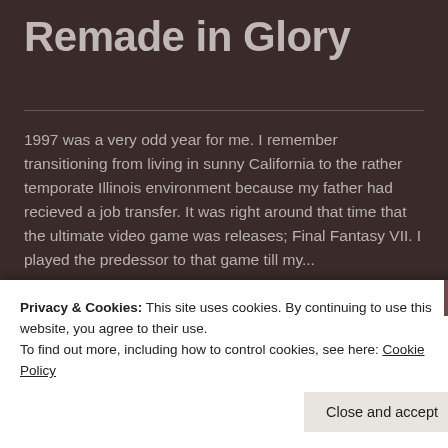Remade in Glory
1997 was a very odd year for me. I remember transitioning from living in sunny California to the rather temporate Illinois environment because my father had recieved a job transfer. It was right around that time that the ultimate video game was releases; Final Fantasy VII. I played the predessor to that game till my...
READ MORE
Privacy & Cookies: This site uses cookies. By continuing to use this website, you agree to their use.
To find out more, including how to control cookies, see here: Cookie Policy
Close and accept